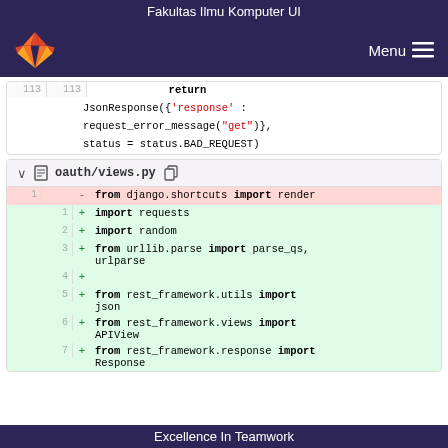Fakultas Ilmu Komputer UI
[Figure (screenshot): GitLab navigation bar with orange fox logo and Menu hamburger button on dark purple background]
113 113         return
JsonResponse({'response' :
request_error_message("get")},
status = status.BAD_REQUEST)
oauth/views.py file diff showing:
- from django.shortcuts import render
+ import requests
+ import random
+ from urllib.parse import parse_qs, urlparse
+
+ from rest_framework.utils import json
+ from rest_framework.views import APIView
+ from rest_framework.response import Response
Excellence In Teamwork